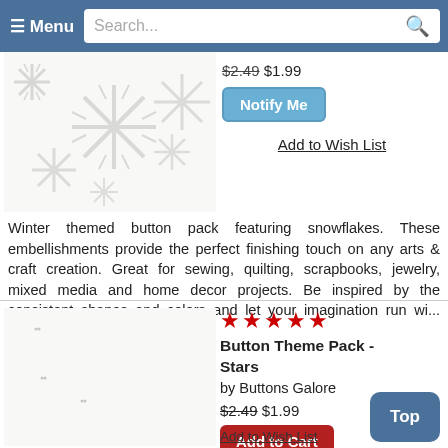≡ Menu | Search...
[Figure (photo): Snowflake buttons arrangement on white background]
$2.49 $1.99
Notify Me
Add to Wish List
Winter themed button pack featuring snowflakes. These embellishments provide the perfect finishing touch on any arts & craft creation. Great for sewing, quilting, scrapbooks, jewelry, mixed media and home decor projects. Be inspired by the consistent shapes and colors and let your imagination run wi... Read more
[Figure (photo): Colorful star-shaped buttons in multiple colors: yellow, blue, orange, red, green]
★★★★★
Button Theme Pack - Stars
by Buttons Galore
$2.49 $1.99
Add to Cart
Top
Add to Wish List